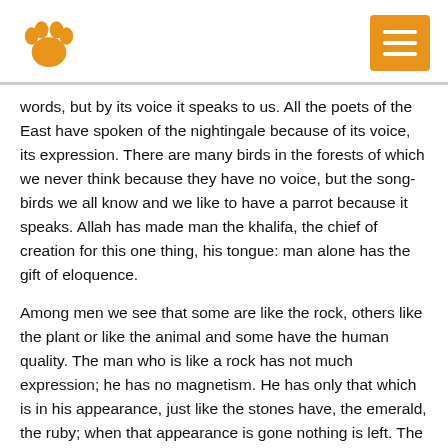[Figure (logo): Orange paw print logo icon]
[Figure (other): Orange hamburger menu button with three white horizontal lines]
words, but by its voice it speaks to us. All the poets of the East have spoken of the nightingale because of its voice, its expression. There are many birds in the forests of which we never think because they have no voice, but the song-birds we all know and we like to have a parrot because it speaks. Allah has made man the khalifa, the chief of creation for this one thing, his tongue: man alone has the gift of eloquence.
Among men we see that some are like the rock, others like the plant or like the animal and some have the human quality. The man who is like a rock has not much expression; he has no magnetism. He has only that which is in his appearance, just like the stones have, the emerald, the ruby; when that appearance is gone nothing is left. The man who is like a plant has intelligence, and some feeling,